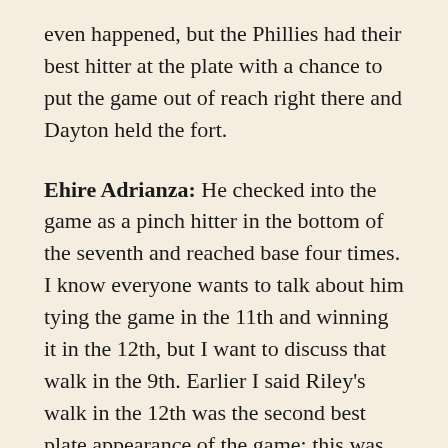even happened, but the Phillies had their best hitter at the plate with a chance to put the game out of reach right there and Dayton held the fort.
Ehire Adrianza: He checked into the game as a pinch hitter in the bottom of the seventh and reached base four times. I know everyone wants to talk about him tying the game in the 11th and winning it in the 12th, but I want to discuss that walk in the 9th. Earlier I said Riley's walk in the 12th was the second best plate appearance of the game; this was the best.
There were two outs and nobody on base with